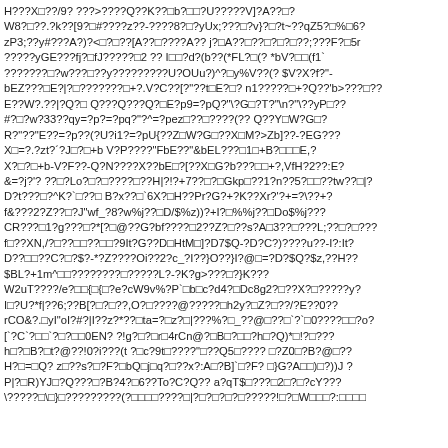H???X□??/9? ???>????Q??K??□b?□□?U?????V]?A??□? W8?□??.?k??[9?□#????z??-????8?□?yUx;???□?v}?□?t~??qZ5?□%□6? zP3;??y#???A?)? <□?□??[A??□????A?? j?□A??□??□?□?□??;???F?□5r ?????yGE???fj?□fJ?????□2 ?? I□□?d?(b??(*FL?□(? *bV?□□(f1` ???????□?w???□??y?????????U?OUu?)^?□y%V??(? $V?X?f?"- bEZ???□E?|?□???????□+?.V?C??[?"??t□E?□? n1?????□+?Q??'b>???□?? E??W?.??|?Q?□ Q???Q???Q?□E?p9=?pQ?"\?G□?T?"\n?"\??yP□?? #?□?w?33??qy=?p?=?pq?"?^=?pez□??□????(?? Q??Y□W?G□? R?"??"E??=?p??(?U?i1?=?pU{??Z□W?G□??X□M?>Zb]??-?EG??? X□=?.?zt?´?J□?□+b V?P????"FbE??"&bEL???□1□+B?□□□E,? X?□?□+b-V?F??-Q?N????X??bE□?[??X□G?b???□□+?,VfH?2??:E? &=?j?'? ??□?Lo?□?□????□??H|?!?+7??□?□Gkp□??1?n??5?□□??tw??□|? D?t???□?^K?`□??□ B?x??□`6X?□H??Pr?G?+?K??Xr?'?+=?\??+? f&???2?Z??□?J"wf_?8?w%j??□D/$%z))?+I?□%% j??□Do$%j??? CR???□1?g???□?*[?□@??G?bf????□2??Z?□??s?A□3??□???L;??□?□??? f□??XN,/?□??□□??□□?9It?G??D□HtM□]?D7$Q-?D?C?)????u??-I?:It? D??□□??C?□?$?-*?Z????Oi??2?c_?I??}O??}I?@□=?D?$Q?$z,??H?? $BL?+1m^□□????????□?????L?-?K?g>???□?}K??? W2uT????/e?□□{□{□?e?cW9v%?P`□b□c?d4?□Dc8g2?□??X?□?????y? I□?U?*f|??6;??B[?□?□??,O?□????@?????□h2y?□Z?□??/?E??0?? rCO&?.□yI"oI?#?|I??z?*??□ta=?□z?□|???%?□_??@□??□`?`□0????□□?o? [`?C`?□□`?□?□□0EN? ?!g?□?□r□4rCn@?□B□?□□?h□?Q)*□!?□??? h□?□B?□t?@??!0?i???(t ?□c?9t□????"□??Q5□???? □?Z0□?B?@□?? H?□=□Q? z□??s?□?F?□bQ□j□q?□??x?:A□?B]`□?F? □}G?A□□)□?))J ? P|?□R)YJ□?Q???□?B?4?□6??To?C?Q?? a?qT$□???□2□?□?cY??? \?????□\□}□?????????(?□□□□????□|?□?□?□?□?????!□?□W□□□?:□□□□